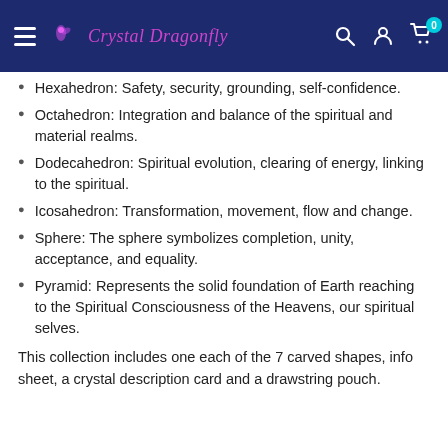Crystal Dragonfly
Hexahedron: Safety, security, grounding, self-confidence.
Octahedron: Integration and balance of the spiritual and material realms.
Dodecahedron: Spiritual evolution, clearing of energy, linking to the spiritual.
Icosahedron: Transformation, movement, flow and change.
Sphere: The sphere symbolizes completion, unity, acceptance, and equality.
Pyramid: Represents the solid foundation of Earth reaching to the Spiritual Consciousness of the Heavens, our spiritual selves.
This collection includes one each of the 7 carved shapes, info sheet, a crystal description card and a drawstring pouch.